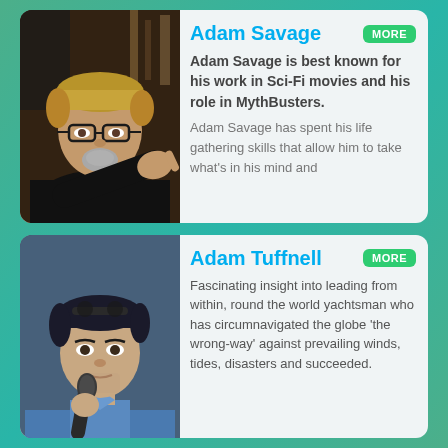[Figure (photo): Photo of Adam Savage pointing at camera, wearing black t-shirt and glasses, dark background]
Adam Savage
Adam Savage is best known for his work in Sci-Fi movies and his role in MythBusters.
Adam Savage has spent his life gathering skills that allow him to take what's in his mind and
[Figure (photo): Photo of Adam Tuffnell holding a microphone, wearing blue shirt, dark hair]
Adam Tuffnell
Fascinating insight into leading from within, round the world yachtsman who has circumnavigated the globe 'the wrong-way' against prevailing winds, tides, disasters and succeeded.